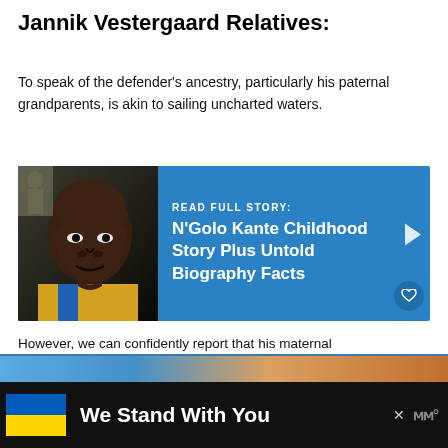Jannik Vestergaard Relatives:
To speak of the defender's ancestry, particularly his paternal grandparents, is akin to sailing uncharted waters.
[Figure (infographic): Banner with photo of N'Golo Kante on left, blue background on right with text READ FULL STORY: N'Golo Kante Childhood Story Plus Untold Biography Facts, with arrow, heart button, share count 1 and share icon]
However, we can confidently report that his maternal grandfather Hannes Schröers is a former German professional footballer with an extensive history with West H
[Figure (infographic): WHAT'S NEXT panel with thumbnail image and text: Diego Maradona...]
[Figure (photo): Bottom image strip - partial view]
[Figure (infographic): Advertisement banner: We Stand With You with Ukrainian flag colors (blue and yellow) on black background]